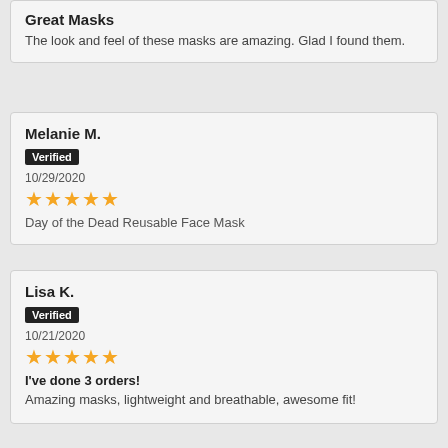Great Masks
The look and feel of these masks are amazing. Glad I found them.
Melanie M.
Verified
10/29/2020
★★★★★
Day of the Dead Reusable Face Mask
Lisa K.
Verified
10/21/2020
★★★★★
I've done 3 orders!
Amazing masks, lightweight and breathable, awesome fit!